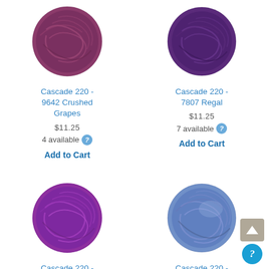[Figure (photo): Ball of mauve/purple yarn - Cascade 220 9642 Crushed Grapes]
[Figure (photo): Ball of deep purple yarn - Cascade 220 7807 Regal]
Cascade 220 - 9642 Crushed Grapes
$11.25
4 available
Add to Cart
Cascade 220 - 7807 Regal
$11.25
7 available
Add to Cart
[Figure (photo): Ball of bright purple/magenta yarn - Cascade 220 2420 Heather]
[Figure (photo): Ball of blue-purple yarn - Cascade 220 9655 Blueberry Heather]
Cascade 220 - 2420 Heather
$11.25
Cascade 220 - 9655 Blueberry Heather